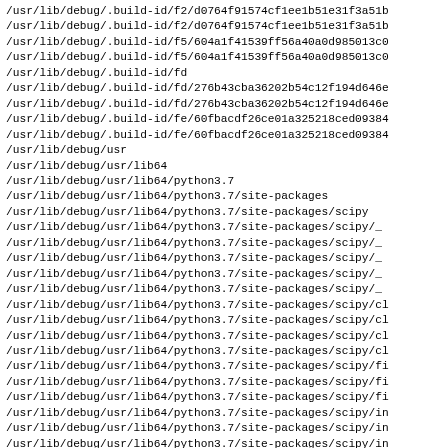/usr/lib/debug/.build-id/f2/d0764f91574cf1ee1b51e31f3a51b
/usr/lib/debug/.build-id/f2/d0764f91574cf1ee1b51e31f3a51b
/usr/lib/debug/.build-id/f5/604a1f41539ff56a40a0d985013c0
/usr/lib/debug/.build-id/f5/604a1f41539ff56a40a0d985013c0
/usr/lib/debug/.build-id/fd
/usr/lib/debug/.build-id/fd/276b43cba36202b54c12f194d646e
/usr/lib/debug/.build-id/fd/276b43cba36202b54c12f194d646e
/usr/lib/debug/.build-id/fe/60fbacdf26ce01a325218ced09384
/usr/lib/debug/.build-id/fe/60fbacdf26ce01a325218ced09384
/usr/lib/debug/usr
/usr/lib/debug/usr/lib64
/usr/lib/debug/usr/lib64/python3.7
/usr/lib/debug/usr/lib64/python3.7/site-packages
/usr/lib/debug/usr/lib64/python3.7/site-packages/scipy
/usr/lib/debug/usr/lib64/python3.7/site-packages/scipy/_
/usr/lib/debug/usr/lib64/python3.7/site-packages/scipy/_
/usr/lib/debug/usr/lib64/python3.7/site-packages/scipy/_
/usr/lib/debug/usr/lib64/python3.7/site-packages/scipy/_
/usr/lib/debug/usr/lib64/python3.7/site-packages/scipy/_
/usr/lib/debug/usr/lib64/python3.7/site-packages/scipy/cl
/usr/lib/debug/usr/lib64/python3.7/site-packages/scipy/cl
/usr/lib/debug/usr/lib64/python3.7/site-packages/scipy/cl
/usr/lib/debug/usr/lib64/python3.7/site-packages/scipy/cl
/usr/lib/debug/usr/lib64/python3.7/site-packages/scipy/fi
/usr/lib/debug/usr/lib64/python3.7/site-packages/scipy/fi
/usr/lib/debug/usr/lib64/python3.7/site-packages/scipy/fi
/usr/lib/debug/usr/lib64/python3.7/site-packages/scipy/in
/usr/lib/debug/usr/lib64/python3.7/site-packages/scipy/in
/usr/lib/debug/usr/lib64/python3.7/site-packages/scipy/in
/usr/lib/debug/usr/lib64/python3.7/site-packages/scipy/i